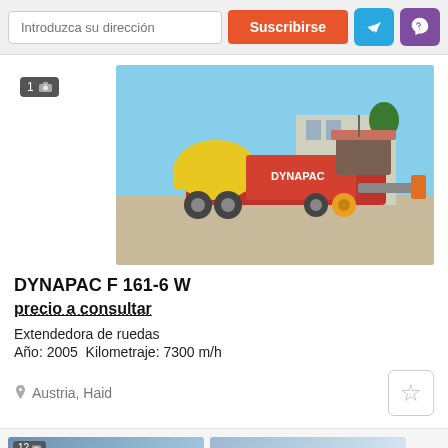Introduzca su dirección
Suscribirse
[Figure (photo): DYNAPAC F 161-6 W asphalt paver machine, yellow and red, photographed outdoors]
DYNAPAC F 161-6 W
precio a consultar
Extendedora de ruedas
Año: 2005  Kilometraje: 7300 m/h
Austria, Haid
[Figure (photo): Partial thumbnail of another machinery listing]
[Figure (photo): Partial thumbnail of another machinery listing]